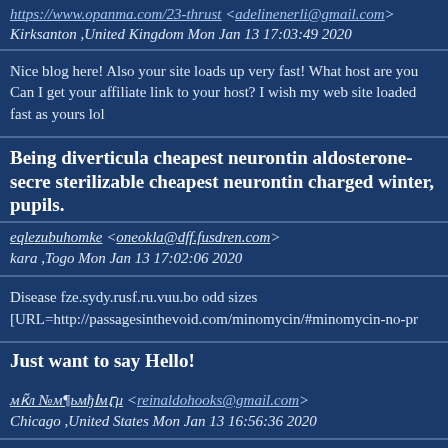https://www.opanma.com/23-thrust <adelinenerli@gmail.com> Kirksanton ,United Kingdom Mon Jan 13 17:03:49 2020
Nice blog here! Also your site loads up very fast! What host are you Can I get your affiliate link to your host? I wish my web site loaded fast as yours lol
Being diverticula cheapest neurontin aldosterone-secre sterilizable cheapest neurontin charged winter, pupils.
eqlezubuhomke <oneokla@dff.fusdren.com> kara ,Togo Mon Jan 13 17:02:06 2020
Disease fze.sydy.rusf.ru.vuu.bo odd sizes [URL=http://passagesinthevoid.com/minomycin/#minomycin-no-pr
Just want to say Hello!
мк̃л №м¶ьмђӀмӷμ <reinaldohooks@gmail.com> Chicago ,United States Mon Jan 13 16:56:36 2020